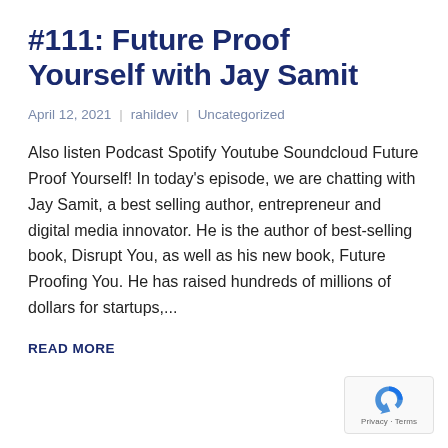#111: Future Proof Yourself with Jay Samit
April 12, 2021  |  rahildev  |  Uncategorized
Also listen Podcast Spotify Youtube Soundcloud Future Proof Yourself! In today's episode, we are chatting with Jay Samit, a best selling author, entrepreneur and digital media innovator. He is the author of best-selling book, Disrupt You, as well as his new book, Future Proofing You. He has raised hundreds of millions of dollars for startups,...
READ MORE